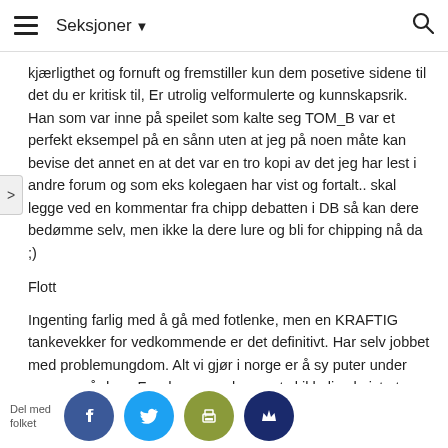Seksjoner
kjærligthet og fornuft og fremstiller kun dem posetive sidene til det du er kritisk til, Er utrolig velformulerte og kunnskapsrik.
Han som var inne på speilet som kalte seg TOM_B var et perfekt eksempel på en sånn uten at jeg på noen måte kan bevise det annet en at det var en tro kopi av det jeg har lest i andre forum og som eks kolegaen har vist og fortalt.. skal legge ved en kommentar fra chipp debatten i DB så kan dere bedømme selv, men ikke la dere lure og bli for chipping nå da ;)
Flott
Ingenting farlig med å gå med fotlenke, men en KRAFTIG tankevekker for vedkommende er det definitivt. Har selv jobbet med problemungdom. Alt vi gjør i norge er å sy puter under armene på dem. For de som er kommet skikkelig skeivt ut tilbyr vi lite og ingen reell hjelp. Mange kommer aldri på rett kjøl, og blir dømt til et liv som kriminell eller rusmis… Tvang er …rvurdert …ddel i det landet. … ene til dis… na er ofte …surssvake